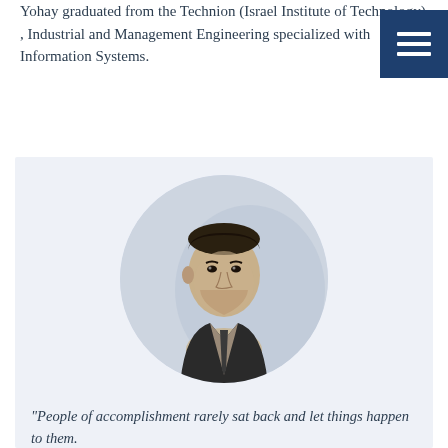Yohay graduated from the Technion (Israel Institute of Technology) , Industrial and Management Engineering specialized with Information Systems.
[Figure (photo): Circular portrait photo of a man in a dark suit and tie, set against a light blue-grey background panel.]
"People of accomplishment rarely sat back and let things happen to them. They went out and happened to things." [Leonardo da Vinci]